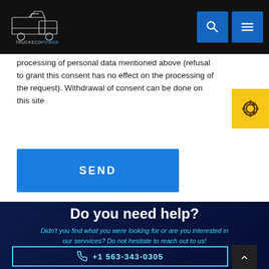TruckEcoPower logo and navigation header
processing of personal data mentioned above (refusal to grant this consent has no effect on the processing of the request). Withdrawal of consent can be done on this site
SEND
Do you need help?
Didn't you find what you were looking for or are you interested in our servvices? Do not hesitate to reach out to us!
+1 563-343-0305